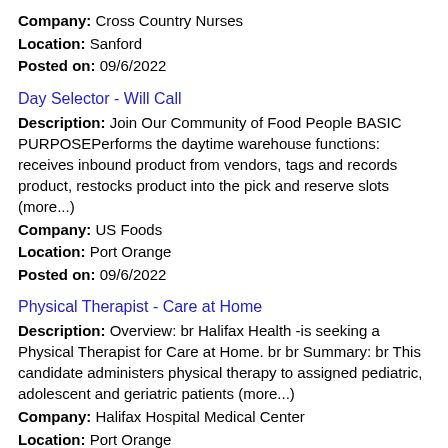Company: Cross Country Nurses
Location: Sanford
Posted on: 09/6/2022
Day Selector - Will Call
Description: Join Our Community of Food People BASIC PURPOSEPerforms the daytime warehouse functions: receives inbound product from vendors, tags and records product, restocks product into the pick and reserve slots (more...)
Company: US Foods
Location: Port Orange
Posted on: 09/6/2022
Physical Therapist - Care at Home
Description: Overview: br Halifax Health -is seeking a Physical Therapist for Care at Home. br br Summary: br This candidate administers physical therapy to assigned pediatric, adolescent and geriatric patients (more...)
Company: Halifax Hospital Medical Center
Location: Port Orange
Posted on: 09/6/2022
Hiring CDL-A Truck Drivers in Titusville, FL
Description: Hiring CDL Company Drivers in Titusville, FL. Apply